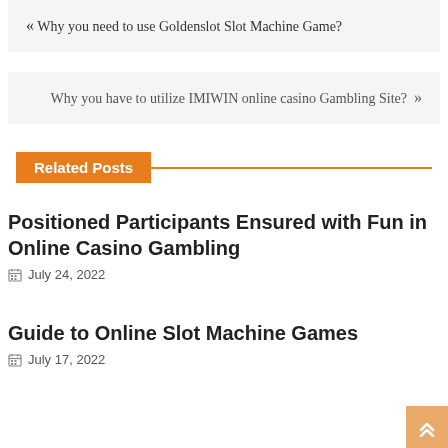« Why you need to use Goldenslot Slot Machine Game?
Why you have to utilize IMIWIN online casino Gambling Site? »
Related Posts
Positioned Participants Ensured with Fun in Online Casino Gambling
July 24, 2022
Guide to Online Slot Machine Games
July 17, 2022